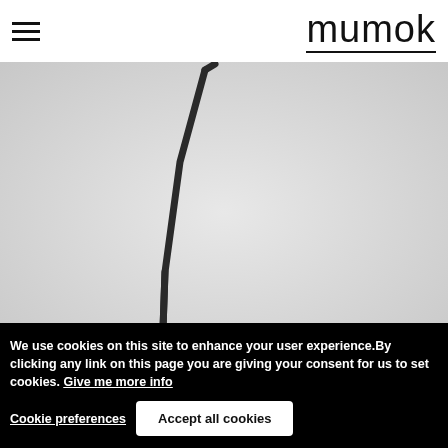[Figure (logo): mumok museum logo — word 'mumok' in thin sans-serif font with underline]
[Figure (photo): A thin dark bent metal rod or wire sculpture on a light gray background, photographed from above. The rod bends sharply near the bottom left creating an L/angle shape.]
We use cookies on this site to enhance your user experience.By clicking any link on this page you are giving your consent for us to set cookies. Give me more info
Cookie preferences
Accept all cookies